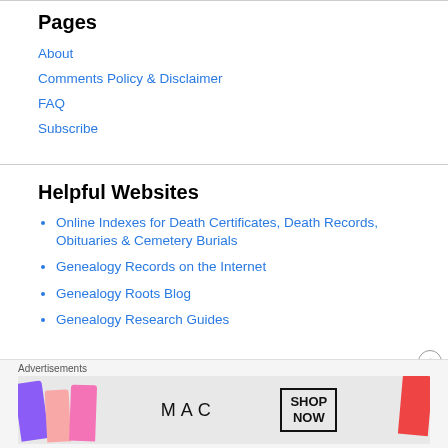Pages
About
Comments Policy & Disclaimer
FAQ
Subscribe
Helpful Websites
Online Indexes for Death Certificates, Death Records, Obituaries & Cemetery Burials
Genealogy Records on the Internet
Genealogy Roots Blog
Genealogy Research Guides
Advertisements